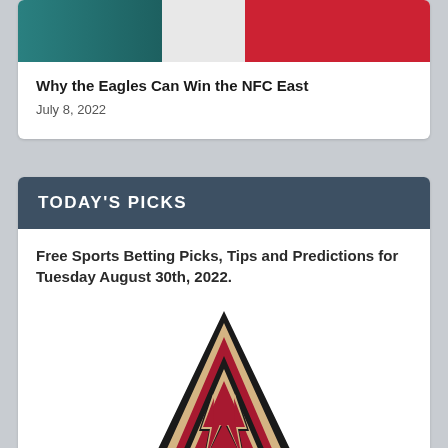[Figure (photo): Football players in teal/green and red uniforms, partially cropped at top of card]
Why the Eagles Can Win the NFC East
July 8, 2022
TODAY'S PICKS
Free Sports Betting Picks, Tips and Predictions for Tuesday August 30th, 2022.
[Figure (logo): Arizona Diamondbacks 'A' logo in red, black, and cream colors]